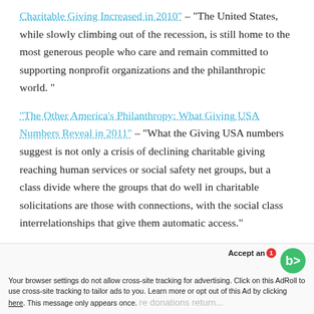Charitable Giving Increased in 2010" – "The United States, while slowly climbing out of the recession, is still home to the most generous people who care and remain committed to supporting nonprofit organizations and the philanthropic world. "
"The Other America's Philanthropy: What Giving USA Numbers Reveal in 2011" – "What the Giving USA numbers suggest is not only a crisis of declining charitable giving reaching human services or social safety net groups, but a class divide where the groups that do well in charitable solicitations are those with connections, with the social class interrelationships that give them automatic access."
"Giving USA: Reasons to Track Your Need for End... ...re donations return..."
Accept an... Your browser settings do not allow cross-site tracking for advertising. Click on this AdRoll to use cross-site tracking to tailor ads to you. Learn more or opt out of this Ad by clicking here. This message only appears once.